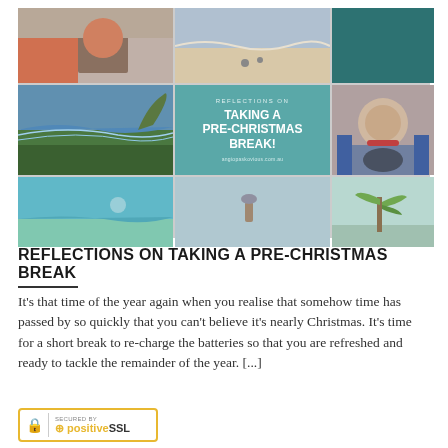[Figure (photo): A 3x3 photo collage. Top row: person in colorful dress/jacket, beach with waves, dark teal background. Middle row: coastal cliffs and ocean, teal card with text 'REFLECTIONS ON TAKING A PRE-CHRISTMAS BREAK! angiopaskovious.com.au', woman smiling in restaurant. Bottom row: aerial turquoise water, beach with person standing, pale beach/palm scene.]
REFLECTIONS ON TAKING A PRE-CHRISTMAS BREAK
It's that time of the year again when you realise that somehow time has passed by so quickly that you can't believe it's nearly Christmas. It's time for a short break to re-charge the batteries so that you are refreshed and ready to tackle the remainder of the year. [...]
[Figure (logo): Secured by Positive SSL badge with yellow/gold border, padlock icon, and PositiveSSL branding]